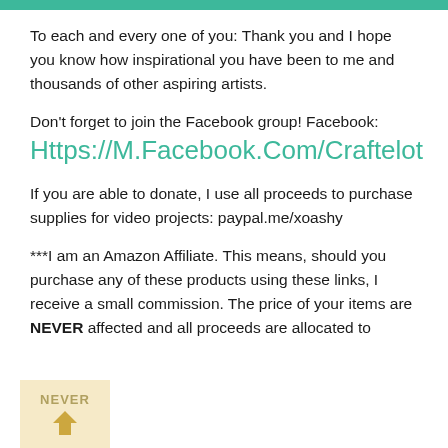To each and every one of you: Thank you and I hope you know how inspirational you have been to me and thousands of other aspiring artists.
Don't forget to join the Facebook group! Facebook: Https://M.Facebook.Com/Craftelot
If you are able to donate, I use all proceeds to purchase supplies for video projects: paypal.me/xoashy
***I am an Amazon Affiliate. This means, should you purchase any of these products using these links, I receive a small commission. The price of your items are NEVER affected and all proceeds are allocated to